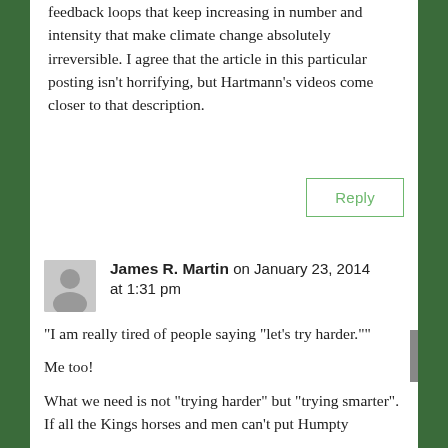feedback loops that keep increasing in number and intensity that make climate change absolutely irreversible. I agree that the article in this particular posting isn't horrifying, but Hartmann's videos come closer to that description.
Reply
James R. Martin on January 23, 2014 at 1:31 pm
“I am really tired of people saying “let’s try harder.””
Me too!
What we need is not “trying harder” but “trying smarter”. If all the Kings horses and men can’t put Humpty